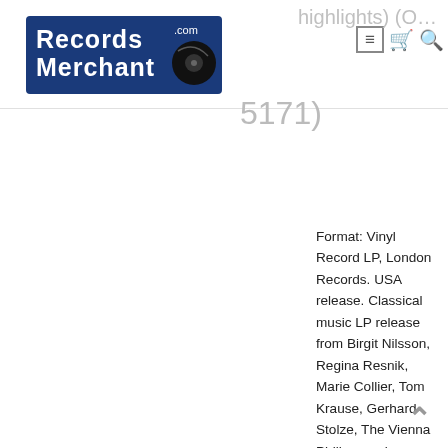Records Merchant logo, navigation icons
highlights) (OS... 5171)
Format: Vinyl Record LP, London Records. USA release. Classical music LP release from Birgit Nilsson, Regina Resnik, Marie Collier, Tom Krause, Gerhard Stolze, The Vienna Philharmonic Orchestra, Georg Solti. Classical music LP. A Classical music vinyl record album release featuring some of the top composers and performers. A United States vinyl pressing, hard to find outside the USA.
Record label: London-Records, USA
Grade: Vinyl EX, Jacket VG+
Stock: 1  Item: RM26118os26171 ---N